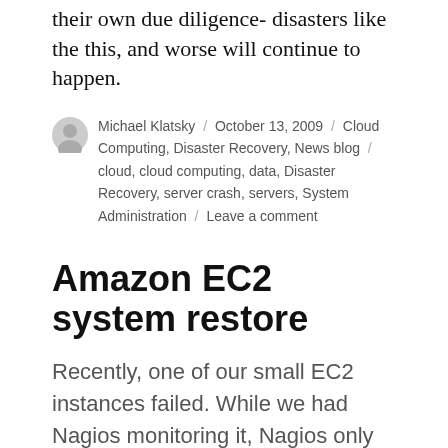their own due diligence- disasters like the this, and worse will continue to happen.
Michael Klatsky / October 13, 2009 / Cloud Computing, Disaster Recovery, News blog / cloud, cloud computing, data, Disaster Recovery, server crash, servers, System Administration / Leave a comment
Amazon EC2 system restore
Recently, one of our small EC2 instances failed. While we had Nagios monitoring it, Nagios only provides alerts when services fail, or when the host goes down. In this case, the failure